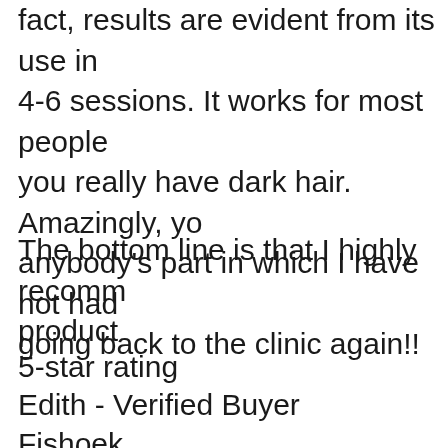fact, results are evident from its use in 4-6 sessions. It works for most people you really have dark hair. Amazingly, you anybody's part in which I have not had going back to the clinic again!!
The bottom line is that I highly recommend product
5-star rating
Edith - Verified Buyer
Fishoek